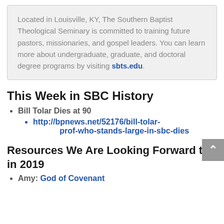Located in Louisville, KY, The Southern Baptist Theological Seminary is committed to training future pastors, missionaries, and gospel leaders. You can learn more about undergraduate, graduate, and doctoral degree programs by visiting sbts.edu.
This Week in SBC History
Bill Tolar Dies at 90
http://bpnews.net/52176/bill-tolar-prof-who-stands-large-in-sbc-dies
Resources We Are Looking Forward to in 2019
Amy: God of Covenant